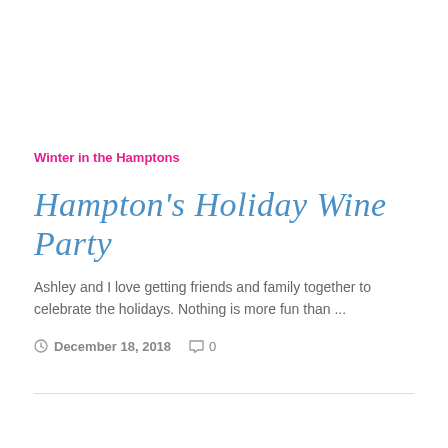Winter in the Hamptons
Hampton's Holiday Wine Party
Ashley and I love getting friends and family together to celebrate the holidays. Nothing is more fun than ...
December 18, 2018   0